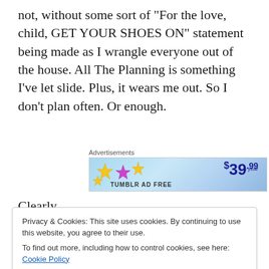not, without some sort of “For the love, child, GET YOUR SHOES ON” statement being made as I wrangle everyone out of the house. All The Planning is something I’ve let slide. Plus, it wears me out. So I don’t plan often. Or enough.
[Figure (screenshot): Tumblr advertisement banner showing '$39.99 a year' price with stars and blue gradient background, labeled 'Advertisements']
Clearly.
...terrible horrible conversation with Sweetboy?
Privacy & Cookies: This site uses cookies. By continuing to use this website, you agree to their use.
To find out more, including how to control cookies, see here: Cookie Policy
Close and accept